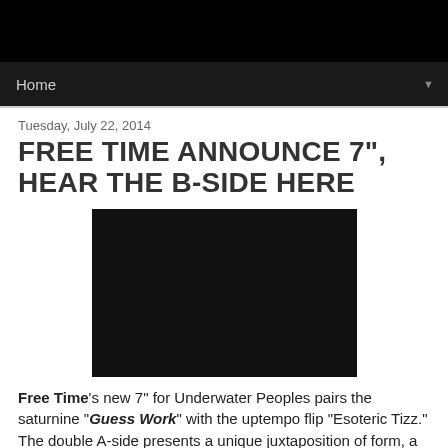Home
Tuesday, July 22, 2014
FREE TIME ANNOUNCE 7", HEAR THE B-SIDE HERE
[Figure (photo): Black video embed or image placeholder]
Free Time's new 7" for Underwater Peoples pairs the saturnine "Guess Work" with the uptempo flip "Esoteric Tizz." The double A-side presents a unique juxtaposition of form, a spaced-out